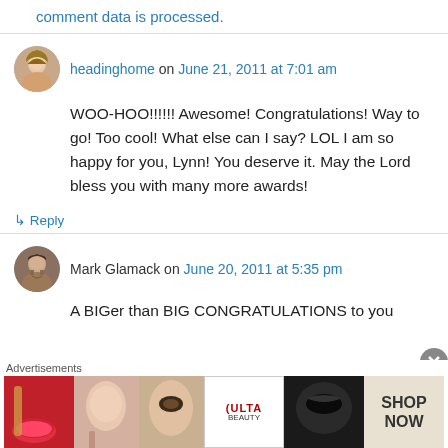comment data is processed.
headinghome on June 21, 2011 at 7:01 am
WOO-HOO!!!!!! Awesome! Congratulations! Way to go! Too cool! What else can I say? LOL I am so happy for you, Lynn! You deserve it. May the Lord bless you with many more awards!
↳ Reply
Mark Glamack on June 20, 2011 at 5:35 pm
A BIGer than BIG CONGRATULATIONS to you
Advertisements
[Figure (illustration): ULTA Beauty advertisement banner showing makeup/cosmetics imagery with 'SHOP NOW' call to action]